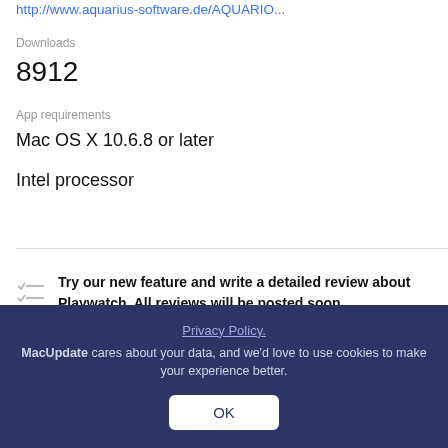http://www.aquarius-software.de/AQUARIO...
Downloads
8912
App requirements
Mac OS X 10.6.8 or later
Intel processor
Try our new feature and write a detailed review about Playwatch. All reviews will be posted soon.
Privacy Policy.
MacUpdate cares about your data, and we'd love to use cookies to make your experience better.
OK